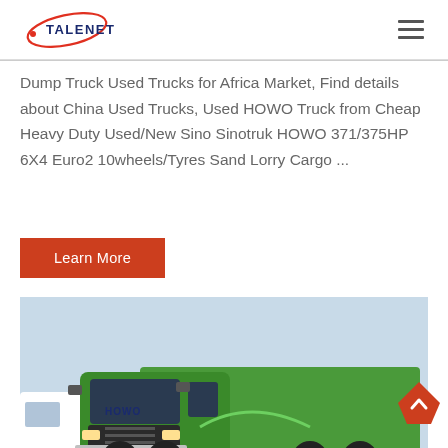TALENET [logo]
Dump Truck Used Trucks for Africa Market, Find details about China Used Trucks, Used HOWO Truck from Cheap Heavy Duty Used/New Sino Sinotruk HOWO 371/375HP 6X4 Euro2 10wheels/Tyres Sand Lorry Cargo ...
Learn More
[Figure (photo): Green HOWO heavy duty dump truck, front-side view, parked outdoors]